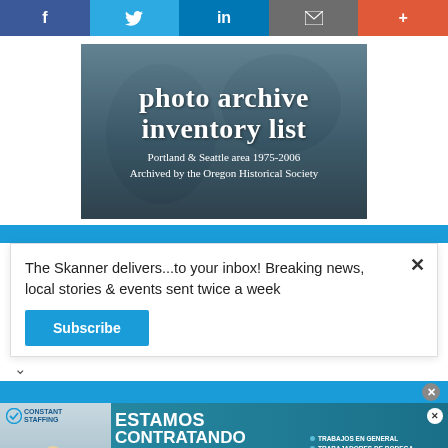[Figure (screenshot): Social media sharing bar with Facebook, Twitter, LinkedIn, email, and plus buttons]
[Figure (photo): Photo archive inventory list banner for Portland & Seattle area 1975-2006, archived by the Oregon Historical Society]
The Skanner delivers...to your inbox! Breaking news, local stories & events sent twice a week
Subscribe
[Figure (photo): Constant Staffing advertisement in Spanish: ESTAMOS CONTRATANDO BILINGÜES - jobs listed including trabajos en general, trabajadores de bodega, empacadores, conductores de montacargas, ventas al por menor, personal administrativo. Phone: 713-714-8909]